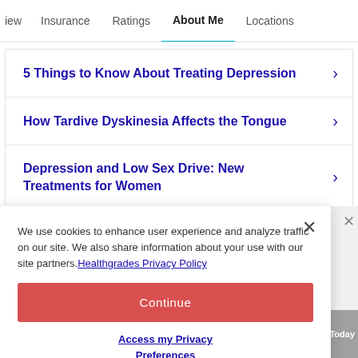iew  Insurance  Ratings  About Me  Locations
5 Things to Know About Treating Depression
How Tardive Dyskinesia Affects the Tongue
Depression and Low Sex Drive: New Treatments for Women
We use cookies to enhance user experience and analyze traffic on our site. We also share information about your use with our site partners. Healthgrades Privacy Policy
Continue
Access my Privacy Preferences